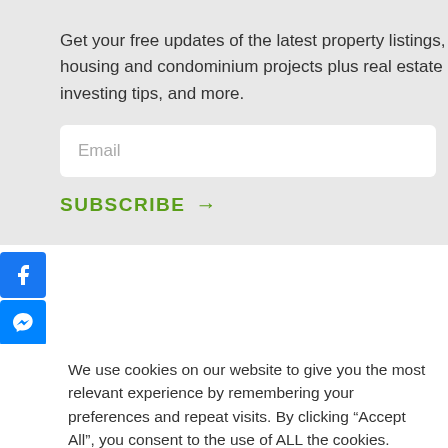Get your free updates of the latest property listings, housing and condominium projects plus real estate investing tips, and more.
[Figure (screenshot): Email input field with placeholder text 'Email']
SUBSCRIBE →
[Figure (infographic): Social share icons: Facebook, Messenger, Email, Plus/Share — blue square buttons on left edge]
We use cookies on our website to give you the most relevant experience by remembering your preferences and repeat visits. By clicking "Accept All", you consent to the use of ALL the cookies. However, you may visit "Cookie Settings" to provide a controlled consent.
Cookie Settings
Accept All